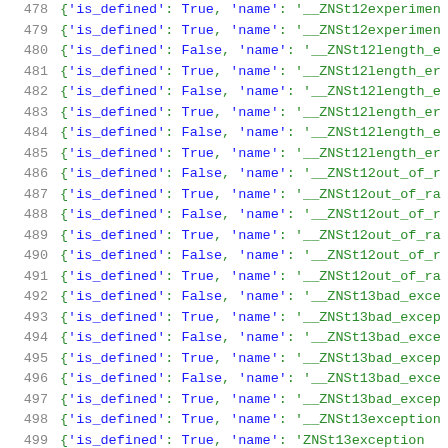478 {'is_defined': True, 'name': '__ZNSt12experimen
479 {'is_defined': True, 'name': '__ZNSt12experimen
480 {'is_defined': False, 'name': '__ZNSt12length_e
481 {'is_defined': True, 'name': '__ZNSt12length_er
482 {'is_defined': False, 'name': '__ZNSt12length_e
483 {'is_defined': True, 'name': '__ZNSt12length_er
484 {'is_defined': False, 'name': '__ZNSt12length_e
485 {'is_defined': True, 'name': '__ZNSt12length_er
486 {'is_defined': False, 'name': '__ZNSt12out_of_r
487 {'is_defined': True, 'name': '__ZNSt12out_of_ra
488 {'is_defined': False, 'name': '__ZNSt12out_of_r
489 {'is_defined': True, 'name': '__ZNSt12out_of_ra
490 {'is_defined': False, 'name': '__ZNSt12out_of_r
491 {'is_defined': True, 'name': '__ZNSt12out_of_ra
492 {'is_defined': False, 'name': '__ZNSt13bad_exce
493 {'is_defined': True, 'name': '__ZNSt13bad_excep
494 {'is_defined': False, 'name': '__ZNSt13bad_exce
495 {'is_defined': True, 'name': '__ZNSt13bad_excep
496 {'is_defined': False, 'name': '__ZNSt13bad_exce
497 {'is_defined': True, 'name': '__ZNSt13bad_excep
498 {'is_defined': True, 'name': '__ZNSt13exception
499 {'is_defined': True, 'name': 'ZNSt13exception